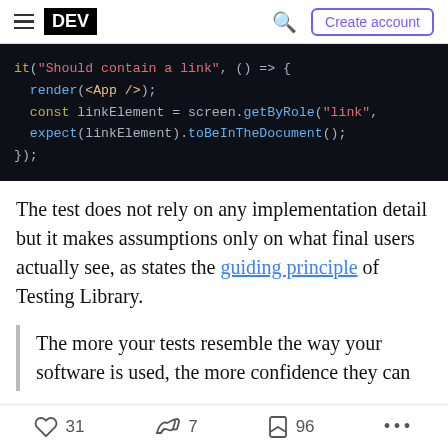DEV — Create account
[Figure (screenshot): Code block showing a JavaScript test: it("Should contain a link", () => { render(<App />); const linkElement = screen.getByRole("link", ...); expect(linkElement).toBeInTheDocument(); });]
The test does not rely on any implementation detail but it makes assumptions only on what final users actually see, as states the guiding principle of Testing Library.
The more your tests resemble the way your software is used, the more confidence they can
31  7  96  ...